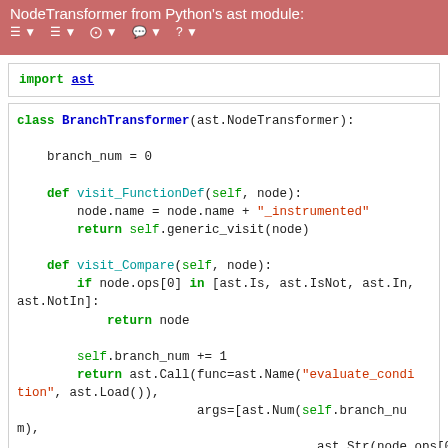NodeTransformer from Python's ast module:
import ast
class BranchTransformer(ast.NodeTransformer):
    branch_num = 0

    def visit_FunctionDef(self, node):
        node.name = node.name + "_instrumented"
        return self.generic_visit(node)

    def visit_Compare(self, node):
        if node.ops[0] in [ast.Is, ast.IsNot, ast.In,
ast.NotIn]:
            return node

        self.branch_num += 1
        return ast.Call(func=ast.Name("evaluate_condition", ast.Load()),
                                    args=[ast.Num(self.branch_num),
                                                        ast.Str(node.ops[0].__c
lass__.__name__)